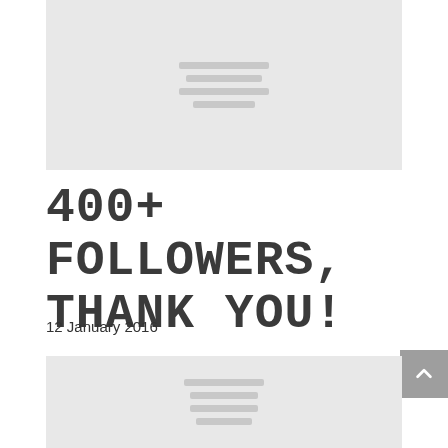[Figure (other): Gray placeholder image with centered horizontal lines representing loading content]
400+ FOLLOWERS, THANK YOU!
12 January 2016
[Figure (other): Gray placeholder image with centered horizontal lines representing loading content]